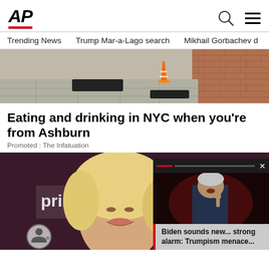AP
Trending News   Trump Mar-a-Lago search   Mikhail Gorbachev d
[Figure (photo): Brick sidewalk with an orange traffic cone and black mat near a building entrance]
Eating and drinking in NYC when you're from Ashburn
Promoted : The Infatuation
[Figure (photo): Smiling blonde woman at a Prime Video event, with a floating video overlay showing Biden speaking and caption 'Biden sounds new... strong alarm: Trumpism menace...']